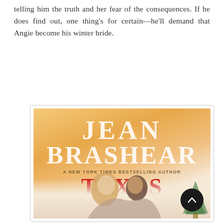telling him the truth and her fear of the consequences. If he does find out, one thing's for certain—he'll demand that Angie become his winter bride.
[Figure (photo): Book cover for 'Texas Christmas Bride' by Jean Brashear, a New York Times bestselling author. Orange/warm gradient background with large white serif author name at top, red serif title text in middle, and a couple (man and woman) about to kiss at the bottom with a Christmas tree in the background.]